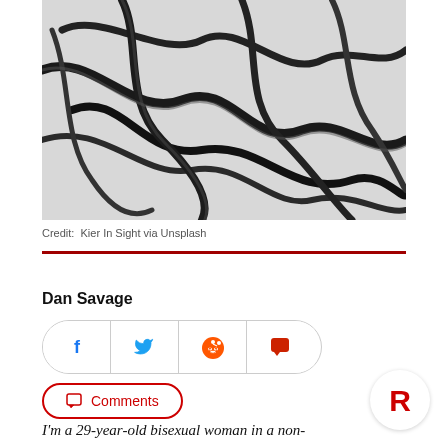[Figure (photo): Black and white photo of tangled dark cables or wires on a light background]
Credit:  Kier In Sight via Unsplash
Dan Savage
[Figure (infographic): Social sharing buttons row: Facebook, Twitter, Reddit, Comment icons in a rounded pill container]
[Figure (infographic): Comments button with speech bubble icon in red outline rounded pill]
[Figure (logo): Circular white badge with red R logo]
I'm a 29-year-old bisexual woman in a non-